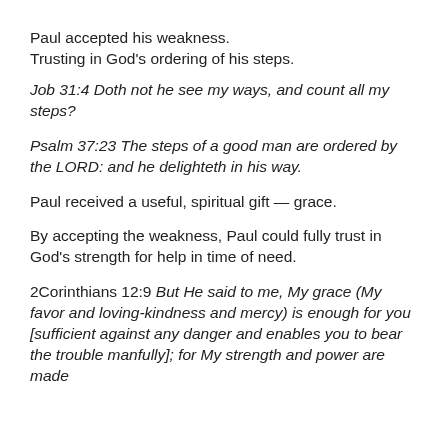Paul accepted his weakness.
Trusting in God's ordering of his steps.
Job 31:4 Doth not he see my ways, and count all my steps?
Psalm 37:23 The steps of a good man are ordered by the LORD: and he delighteth in his way.
Paul received a useful, spiritual gift — grace.
By accepting the weakness, Paul could fully trust in God's strength for help in time of need.
2Corinthians 12:9 But He said to me, My grace (My favor and loving-kindness and mercy) is enough for you [sufficient against any danger and enables you to bear the trouble manfully]; for My strength and power are made